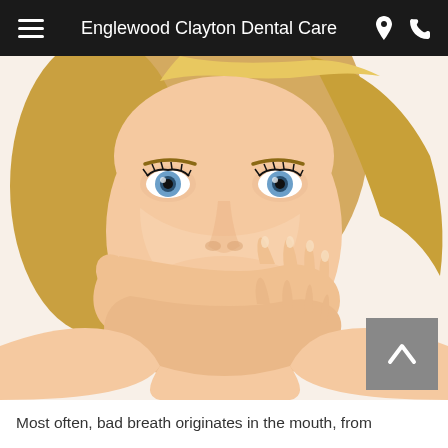Englewood Clayton Dental Care
[Figure (photo): Woman with blonde hair covering her mouth with both hands, looking at the camera with wide blue eyes, against a white background. The image relates to bad breath / oral hygiene topic.]
Most often, bad breath originates in the mouth, from